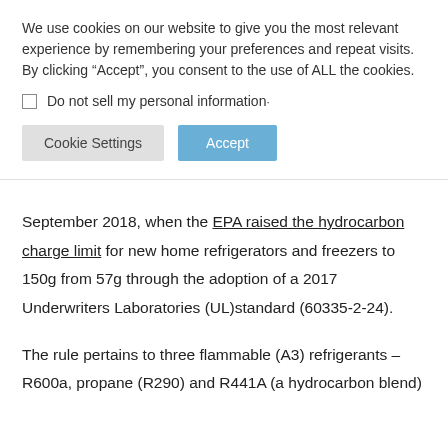We use cookies on our website to give you the most relevant experience by remembering your preferences and repeat visits. By clicking “Accept”, you consent to the use of ALL the cookies.
Do not sell my personal information·
Cookie Settings | Accept
September 2018, when the EPA raised the hydrocarbon charge limit for new home refrigerators and freezers to 150g from 57g through the adoption of a 2017 Underwriters Laboratories (UL)standard (60335-2-24).
The rule pertains to three flammable (A3) refrigerants – R600a, propane (R290) and R441A (a hydrocarbon blend)